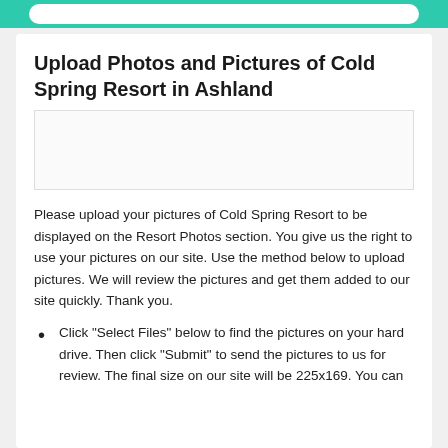Upload Photos and Pictures of Cold Spring Resort in Ashland
Please upload your pictures of Cold Spring Resort to be displayed on the Resort Photos section. You give us the right to use your pictures on our site. Use the method below to upload pictures. We will review the pictures and get them added to our site quickly. Thank you.
Click "Select Files" below to find the pictures on your hard drive. Then click "Submit" to send the pictures to us for review. The final size on our site will be 225x169. You can